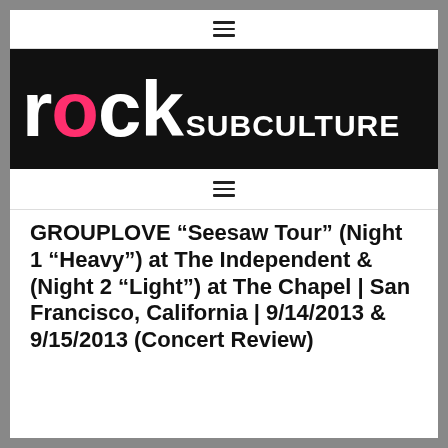≡
[Figure (logo): Rock Subculture logo — white text on black background, large 'rock' in rounded bold lowercase with the 'o' in pink, followed by 'SUBCULTURE' in smaller uppercase white text]
≡
GROUPLOVE “Seesaw Tour” (Night 1 “Heavy”) at The Independent & (Night 2 “Light”) at The Chapel | San Francisco, California | 9/14/2013 & 9/15/2013 (Concert Review)